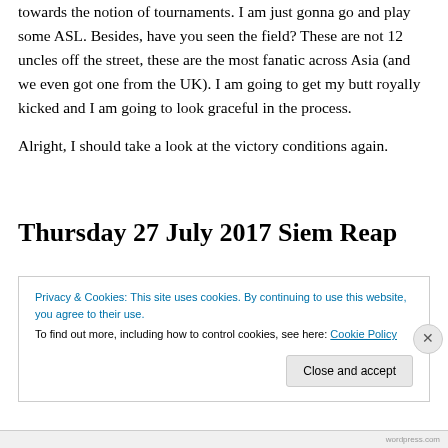towards the notion of tournaments. I am just gonna go and play some ASL. Besides, have you seen the field? These are not 12 uncles off the street, these are the most fanatic across Asia (and we even got one from the UK). I am going to get my butt royally kicked and I am going to look graceful in the process.

Alright, I should take a look at the victory conditions again.
Thursday 27 July 2017 Siem Reap
Privacy & Cookies: This site uses cookies. By continuing to use this website, you agree to their use.
To find out more, including how to control cookies, see here: Cookie Policy
wordpress.com